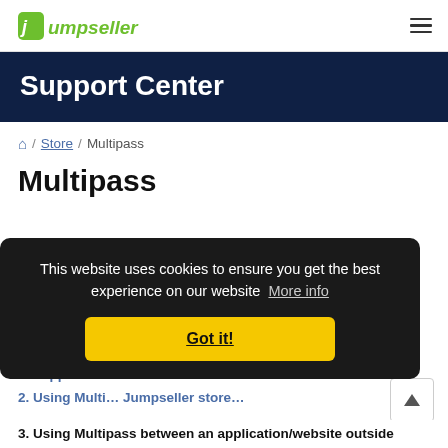Jumpseller
Support Center
Home / Store / Multipass
Multipass
This website uses cookies to ensure you get the best experience on our website  More info
Got it!
... ween full applicati...
2. Using Multi... Jumpseller store...
3. Using Multipass between an application/website outside